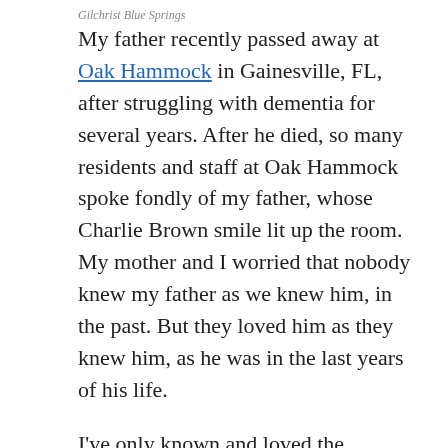Gilchrist Blue Springs
My father recently passed away at Oak Hammock in Gainesville, FL, after struggling with dementia for several years. After he died, so many residents and staff at Oak Hammock spoke fondly of my father, whose Charlie Brown smile lit up the room. My mother and I worried that nobody knew my father as we knew him, in the past. But they loved him as they knew him, as he was in the last years of his life.
I've only known and loved the springs in their current state. My husband Kevin tells me how much cleaner they were when he first came to Florida over twenty years ago. Still others